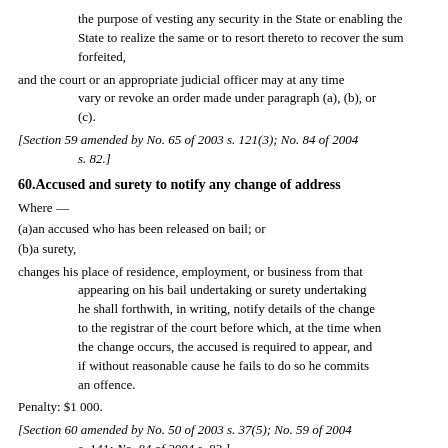the purpose of vesting any security in the State or enabling the State to realize the same or to resort thereto to recover the sum forfeited,
and the court or an appropriate judicial officer may at any time vary or revoke an order made under paragraph (a), (b), or (c).
[Section 59 amended by No. 65 of 2003 s. 121(3); No. 84 of 2004 s. 82.]
60.Accused and surety to notify any change of address
Where —
(a)an accused who has been released on bail; or
(b)a surety,
changes his place of residence, employment, or business from that appearing on his bail undertaking or surety undertaking he shall forthwith, in writing, notify details of the change to the registrar of the court before which, at the time when the change occurs, the accused is required to appear, and if without reasonable cause he fails to do so he commits an offence.
Penalty: $1 000.
[Section 60 amended by No. 50 of 2003 s. 37(5); No. 59 of 2004 s. 141; No. 84 of 2004 s. 82.]